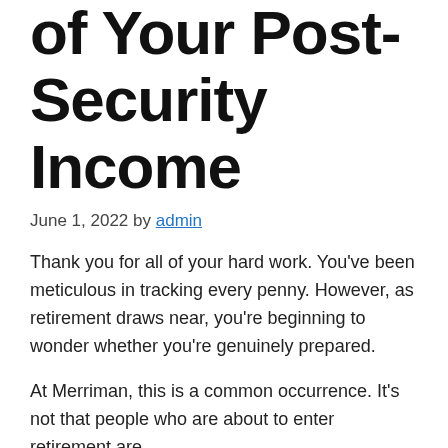of Your Post-Security Income
June 1, 2022 by admin
Thank you for all of your hard work. You've been meticulous in tracking every penny. However, as retirement draws near, you're beginning to wonder whether you're genuinely prepared.
At Merriman, this is a common occurrence. It's not that people who are about to enter retirement are